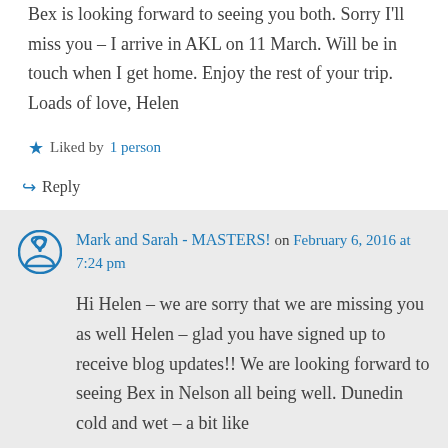Bex is looking forward to seeing you both. Sorry I'll miss you – I arrive in AKL on 11 March. Will be in touch when I get home. Enjoy the rest of your trip. Loads of love, Helen
★ Liked by 1 person
↪ Reply
Mark and Sarah - MASTERS! on February 6, 2016 at 7:24 pm
Hi Helen – we are sorry that we are missing you as well Helen – glad you have signed up to receive blog updates!! We are looking forward to seeing Bex in Nelson all being well. Dunedin cold and wet – a bit like